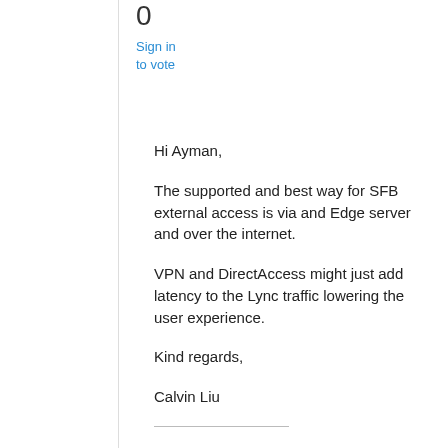0
Sign in
to vote
Hi Ayman,
The supported and best way for SFB external access is via and Edge server and over the internet.
VPN and DirectAccess might just add latency to the Lync traffic lowering the user experience.
Kind regards,
Calvin Liu
Please remember to mark the reply as an answer if you find it is helpful. It will assist others who has similar issue. If you have feedback for TechNet Subscriber Support, contact tnef@microsoft.com